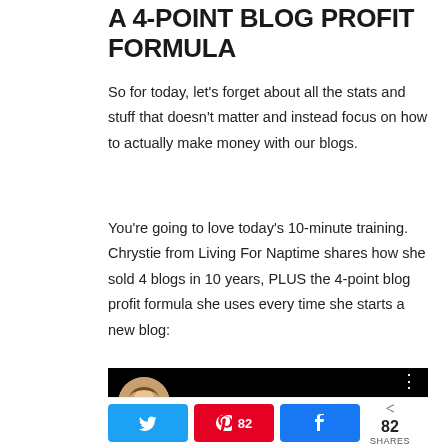A 4-POINT BLOG PROFIT FORMULA
So for today, let's forget about all the stats and stuff that doesn't matter and instead focus on how to actually make money with our blogs.
You're going to love today's 10-minute training. Chrystie from Living For Naptime shares how she sold 4 blogs in 10 years, PLUS the 4-point blog profit formula she uses every time she starts a new blog:
[Figure (screenshot): Video thumbnail showing a woman with blonde hair and text 'How To Sell Your Blog with' on a black background with a menu icon]
Twitter share button, Pinterest share button with count 82, Facebook share button, < 82 SHARES